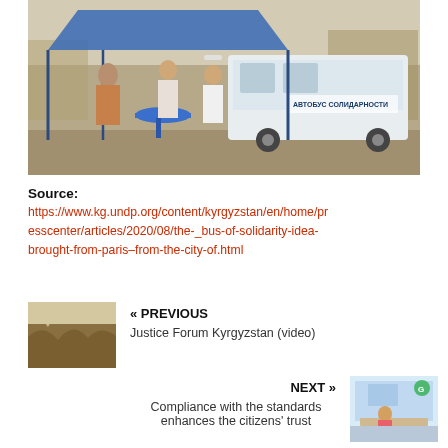[Figure (photo): People sitting under a blue canopy tent next to a van with Cyrillic text 'АВТОБУС СОЛИДАРНОСТИ' on the side, outdoors in a dusty area.]
Source:
https://www.kg.undp.org/content/kyrgyzstan/en/home/presscenter/articles/2020/08/the-_bus-of-solidarity-idea-brought-from-paris–from-the-city-of.html
[Figure (photo): Thumbnail of rocky canyon or gorge landscape (previous article image).]
« PREVIOUS
Justice Forum Kyrgyzstan (video)
NEXT »
Compliance with the standards enhances the citizens' trust
[Figure (photo): Thumbnail of a TV studio or broadcast setting (next article image).]